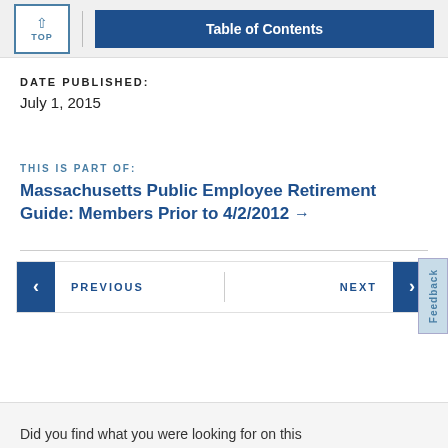TOP | Table of Contents
DATE PUBLISHED:
July 1, 2015
THIS IS PART OF:
Massachusetts Public Employee Retirement Guide: Members Prior to 4/2/2012 →
PREVIOUS
NEXT
Did you find what you were looking for on this